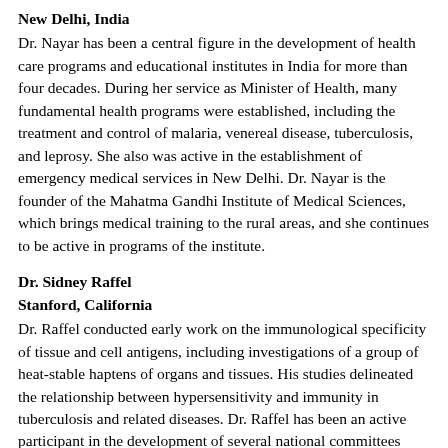New Delhi, India
Dr. Nayar has been a central figure in the development of health care programs and educational institutes in India for more than four decades. During her service as Minister of Health, many fundamental health programs were established, including the treatment and control of malaria, venereal disease, tuberculosis, and leprosy. She also was active in the establishment of emergency medical services in New Delhi. Dr. Nayar is the founder of the Mahatma Gandhi Institute of Medical Sciences, which brings medical training to the rural areas, and she continues to be active in programs of the institute.
Dr. Sidney Raffel
Stanford, California
Dr. Raffel conducted early work on the immunological specificity of tissue and cell antigens, including investigations of a group of heat-stable haptens of organs and tissues. His studies delineated the relationship between hypersensitivity and immunity in tuberculosis and related diseases. Dr. Raffel has been an active participant in the development of several national committees concerned with research in allergies and infectious diseases.
Dr. Bernard Roizman
Chicago, Illinois
Dr. Roizman is one of the world's outstanding virologists.